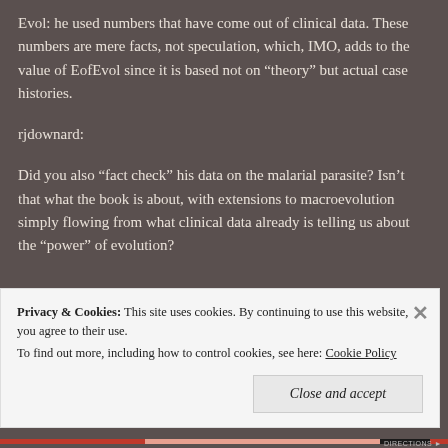Evol: he used numbers that have come out of clinical data. These numbers are mere facts, not speculation, which, IMO, adds to the value of EofEvol since it is based not on "theory" but actual case histories.
rjdownard:
Did you also "fact check" his data on the malarial parasite? Isn't that what the book is about, with extensions to macroevolution simply flowing from what clinical data already is telling us about the "power" of evolution?
Privacy & Cookies: This site uses cookies. By continuing to use this website, you agree to their use. To find out more, including how to control cookies, see here: Cookie Policy
Close and accept